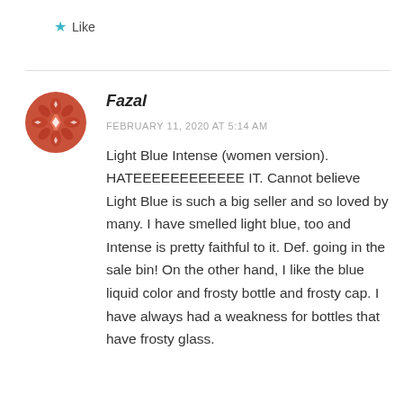Like
Fazal
FEBRUARY 11, 2020 AT 5:14 AM
Light Blue Intense (women version). HATEEEEEEEEEEEE IT. Cannot believe Light Blue is such a big seller and so loved by many. I have smelled light blue, too and Intense is pretty faithful to it. Def. going in the sale bin! On the other hand, I like the blue liquid color and frosty bottle and frosty cap. I have always had a weakness for bottles that have frosty glass.